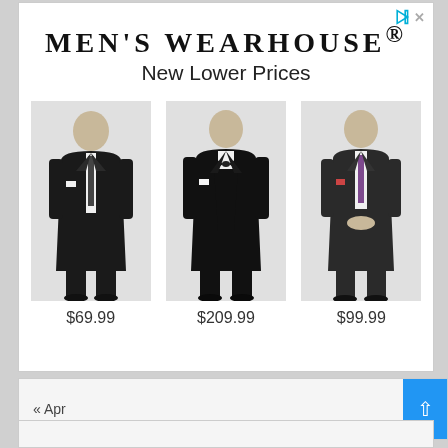MEN'S WEARHOUSE®
New Lower Prices
[Figure (photo): Man in black suit, white shirt, dark tie, full length shot]
$69.99
[Figure (photo): Man in black tuxedo with bow tie, three-piece, full length shot]
$209.99
[Figure (photo): Man in dark charcoal suit with patterned tie, full length shot]
$99.99
« Apr